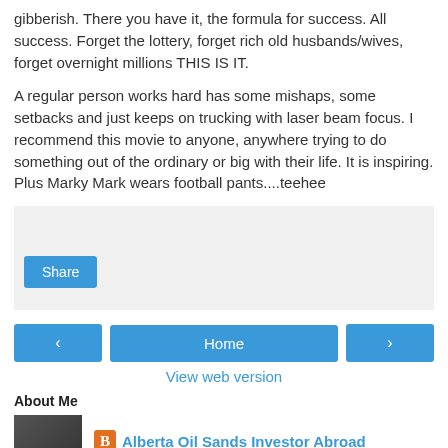gibberish. There you have it, the formula for success. All success. Forget the lottery, forget rich old husbands/wives, forget overnight millions THIS IS IT.
A regular person works hard has some mishaps, some setbacks and just keeps on trucking with laser beam focus. I recommend this movie to anyone, anywhere trying to do something out of the ordinary or big with their life. It is inspiring. Plus Marky Mark wears football pants....teehee
[Figure (other): Share widget box with Share button]
[Figure (other): Navigation bar with left arrow, Home button, and right arrow]
View web version
About Me
[Figure (photo): Profile photo thumbnail]
Alberta Oil Sands Investor Abroad